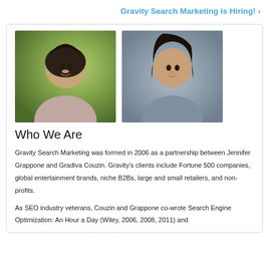Gravity Search Marketing is Hiring! ›
[Figure (photo): Two headshot photos side by side: left photo is a woman with short dark hair smiling outdoors with green foliage background; right photo is a woman with curly dark hair smiling with a blurred outdoor background.]
Who We Are
Gravity Search Marketing was formed in 2006 as a partnership between Jennifer Grappone and Gradiva Couzin. Gravity's clients include Fortune 500 companies, global entertainment brands, niche B2Bs, large and small retailers, and non-profits.
As SEO industry veterans, Couzin and Grappone co-wrote Search Engine Optimization: An Hour a Day (Wiley, 2006, 2008, 2011) and